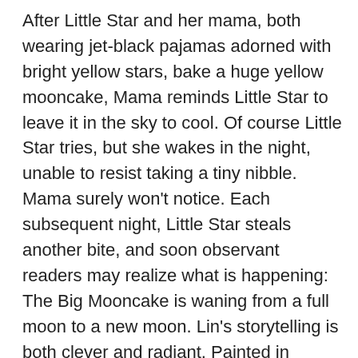After Little Star and her mama, both wearing jet-black pajamas adorned with bright yellow stars, bake a huge yellow mooncake, Mama reminds Little Star to leave it in the sky to cool. Of course Little Star tries, but she wakes in the night, unable to resist taking a tiny nibble. Mama surely won't notice. Each subsequent night, Little Star steals another bite, and soon observant readers may realize what is happening: The Big Mooncake is waning from a full moon to a new moon. Lin's storytelling is both clever and radiant. Painted in gouache against perfectly black pages, the characters' pajamas have no edges, only the stars defining the separation between foreground and background. The mooncake gleams against the black as well, crumbs scattering like stars in the sky—a visual delight, suffusing the book with a feeling of otherworldliness that is offset by Little Star's childlike enthusiasm and her beloved...